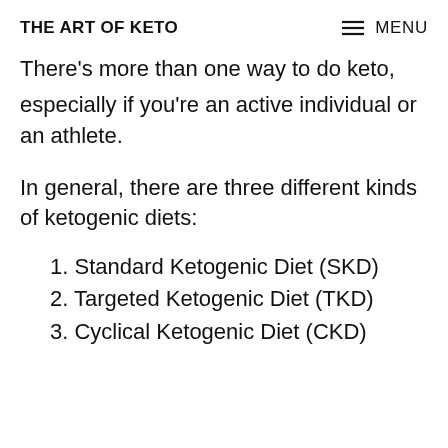THE ART OF KETO | MENU
There's more than one way to do keto, especially if you're an active individual or an athlete.
In general, there are three different kinds of ketogenic diets:
1. Standard Ketogenic Diet (SKD)
2. Targeted Ketogenic Diet (TKD)
3. Cyclical Ketogenic Diet (CKD)